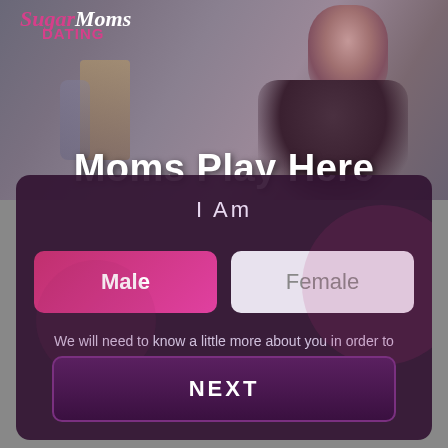[Figure (screenshot): Dating website screenshot showing a woman posing in a dimly lit room with the SugarMoms Dating logo overlay]
SugarMoms Dating
Moms Play Here
I Am
Male
Female
We will need to know a little more about you in order to help other site members find you.
NEXT